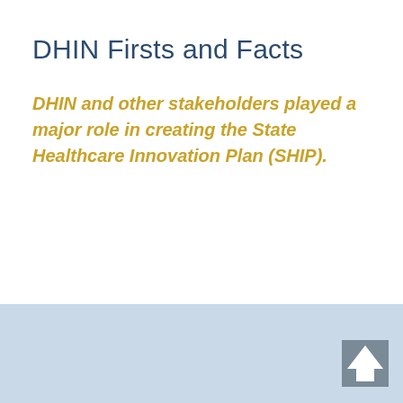DHIN Firsts and Facts
DHIN and other stakeholders played a major role in creating the State Healthcare Innovation Plan (SHIP).
[Figure (illustration): Light blue footer band at the bottom of the page with an upward-pointing arrow icon in grey tones at the bottom right corner.]